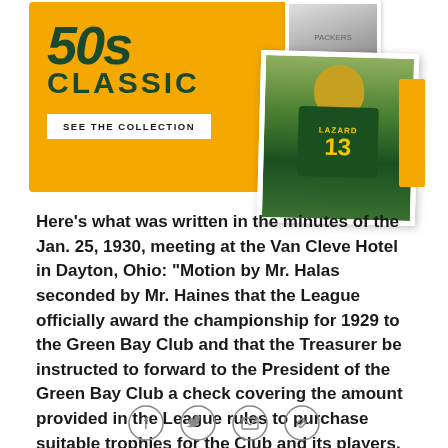[Figure (photo): Green Bay Packers 50s Classic merchandise promotion banner with gold background showing '50s CLASSIC' text and 'SEE THE COLLECTION' button, overlaid with polaroid-style photos including a Packers player wearing jersey number 13 (Lazard) catching a ball, and another person in Packers gear.]
Here's what was written in the minutes of the Jan. 25, 1930, meeting at the Van Cleve Hotel in Dayton, Ohio: "Motion by Mr. Halas seconded by Mr. Haines that the League officially award the championship for 1929 to the Green Bay Club and that the Treasurer be instructed to forward to the President of the Green Bay Club a check covering the amount provided in the League rules to purchase suitable trophies for the Club and its players. Carried.
[Figure (infographic): Social media share icons: Facebook, Twitter, email, and link/chain icons in circular outlines]